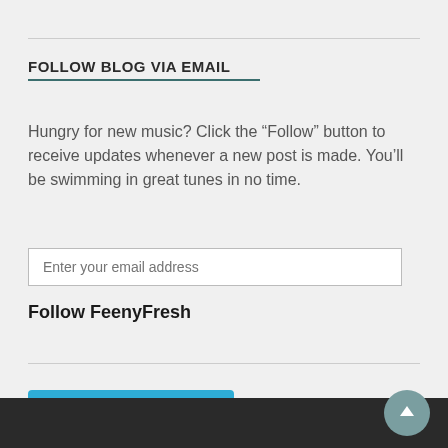FOLLOW BLOG VIA EMAIL
Hungry for new music? Click the “Follow” button to receive updates whenever a new post is made. You’ll be swimming in great tunes in no time.
Enter your email address
Follow FeenyFresh
[Figure (other): WordPress Follow button widget with cyan/blue background reading 'Follow --FeenyFresh--' with WordPress logo icon]